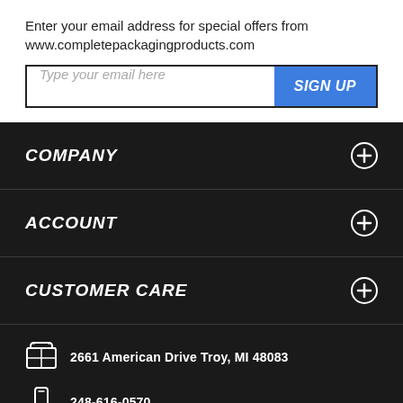Enter your email address for special offers from www.completepackagingproducts.com
Type your email here | SIGN UP
COMPANY
ACCOUNT
CUSTOMER CARE
2661 American Drive Troy, MI 48083
248-616-0570
orders@completepackagingproducts.com